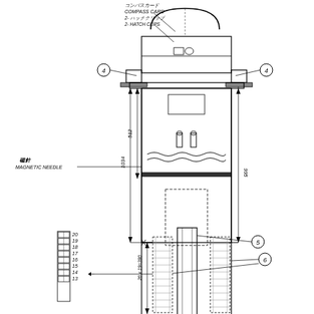[Figure (engineering-diagram): Technical cross-section engineering drawing of a magnetic compass instrument. Shows a dome-shaped top housing with compass card and hatch clips (2-ハッチクリップ / 2-HATCH CLIPS), magnetic needle (磁針 / MAGNETIC NEEDLE) label with leader line. Numbered callouts: 4 (two instances, left and right mounting brackets), 5 (inner tube), 6 (chain/rack detail). Dimension annotations: 512 (vertical), 1034 (vertical), 995 (vertical right side), 20x19=380 (vertical left). Detail inset at bottom-left showing numbered chain links 13-20 with arrow at 14.]